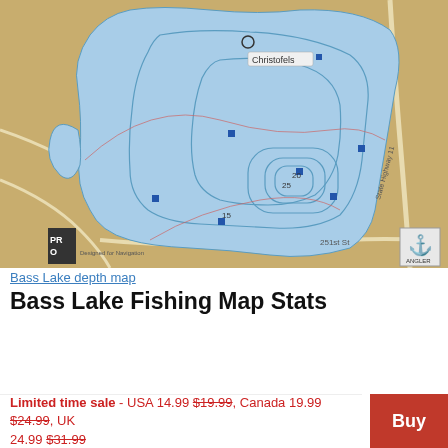[Figure (map): Bass Lake depth map showing bathymetric contour lines. The lake is shown in blue with depth contour lines, surrounded by tan/brown land. Several depth markers and labels visible. PRO watermark in bottom-left. Anchor logo in bottom-right. Roads visible including State Highway 11 and 251st St.]
Bass Lake depth map
Bass Lake Fishing Map Stats
| Title | Bass Lake |
| Scale | 1:3000 |
| Counties | Polk |
Limited time sale - USA 14.99 $19.99, Canada 19.99 $24.99, UK 24.99 $31.99